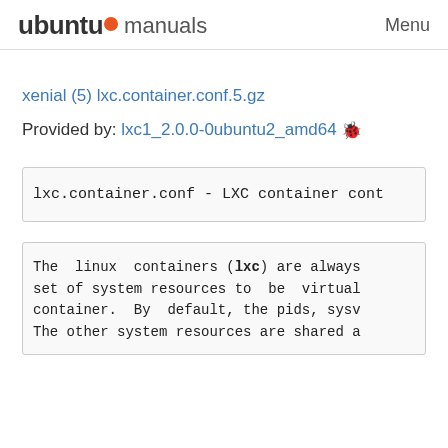ubuntu manuals   Menu
xenial (5) lxc.container.conf.5.gz
Provided by: lxc1_2.0.0-0ubuntu2_amd64 🐞
lxc.container.conf - LXC container conf
The linux containers (lxc) are always set of system resources to be virtual container. By default, the pids, sys The other system resources are shared a